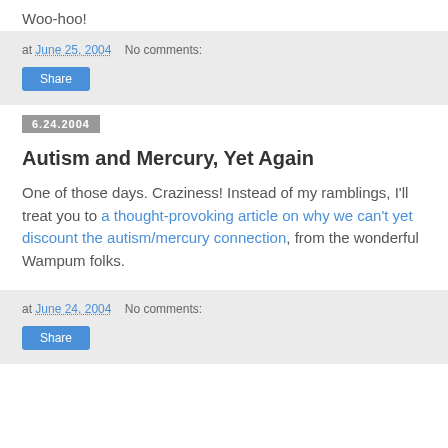Woo-hoo!
at June 25, 2004   No comments:
Share
6.24.2004
Autism and Mercury, Yet Again
One of those days. Craziness! Instead of my ramblings, I'll treat you to a thought-provoking article on why we can't yet discount the autism/mercury connection, from the wonderful Wampum folks.
at June 24, 2004   No comments:
Share